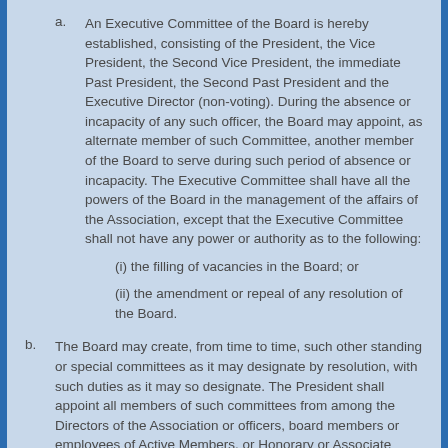a. An Executive Committee of the Board is hereby established, consisting of the President, the Vice President, the Second Vice President, the immediate Past President, the Second Past President and the Executive Director (non-voting). During the absence or incapacity of any such officer, the Board may appoint, as alternate member of such Committee, another member of the Board to serve during such period of absence or incapacity. The Executive Committee shall have all the powers of the Board in the management of the affairs of the Association, except that the Executive Committee shall not have any power or authority as to the following:
(i) the filling of vacancies in the Board; or
(ii) the amendment or repeal of any resolution of the Board.
b. The Board may create, from time to time, such other standing or special committees as it may designate by resolution, with such duties as it may so designate. The President shall appoint all members of such committees from among the Directors of the Association or officers, board members or employees of Active Members, or Honorary or Associate